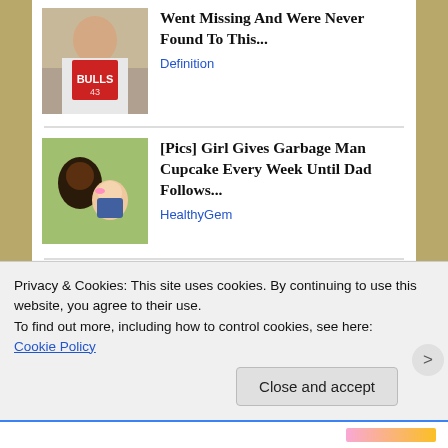[Figure (photo): Man in Chicago Bulls jersey, selfie-style photo]
Went Missing And Were Never Found To This...
Definition
[Figure (photo): Man with sunglasses and a young girl with a pink bow]
[Pics] Girl Gives Garbage Man Cupcake Every Week Until Dad Follows...
HealthyGem
August 10, 1996. One
Privacy & Cookies: This site uses cookies. By continuing to use this website, you agree to their use.
To find out more, including how to control cookies, see here:
Cookie Policy
Close and accept